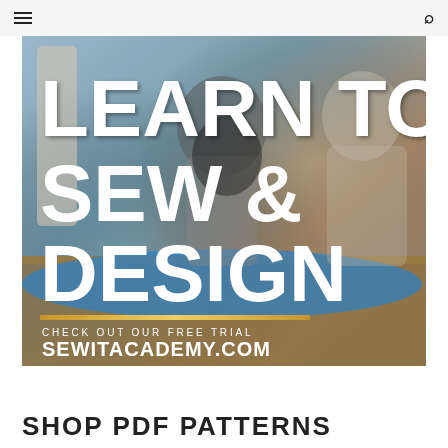☰  🔍
[Figure (photo): Hero banner image of people working at a sewing/fashion design table with fabric, overlaid with large white bold text reading 'LEARN TO SEW & DESIGN', a gold horizontal bar, and text 'CHECK OUT OUR FREE TRIAL' and 'SEWITACADEMY.COM']
SHOP PDF PATTERNS